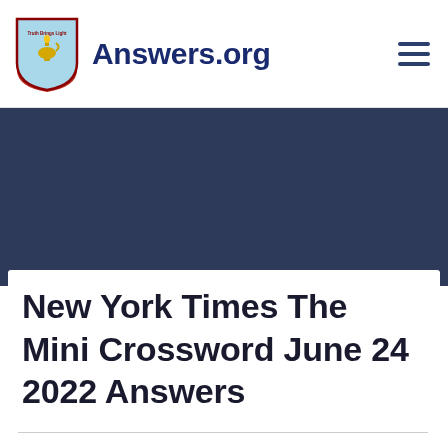Answers.org
[Figure (logo): Answers.org shield logo with lamp/lantern and text 'Truth Brings Light']
New York Times The Mini Crossword June 24 2022 Answers